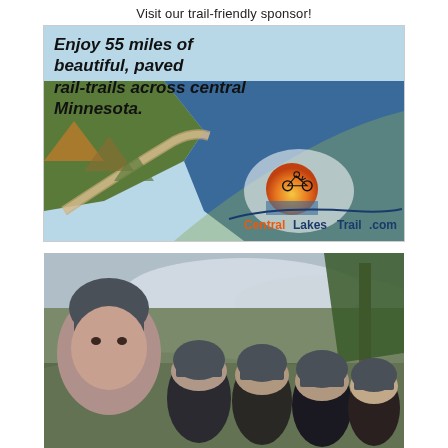Visit our trail-friendly sponsor!
[Figure (illustration): Advertisement for CentralLakesTrail.com showing aerial view of paved rail-trail beside a blue lake in central Minnesota, with cyclist logo and tagline 'Enjoy 55 miles of beautiful, paved rail-trails across central Minnesota.']
[Figure (photo): Group selfie photo of five people wearing bicycle helmets outdoors with trees and cloudy sky in background]